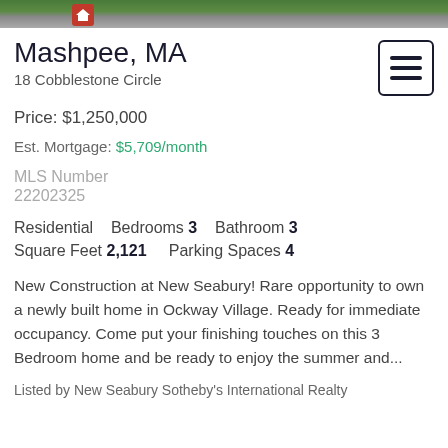[Figure (photo): Top portion of a real estate photo showing green grass/lawn and a driveway/pavement area]
Mashpee, MA
18 Cobblestone Circle
Price: $1,250,000
Est. Mortgage: $5,709/month
MLS Number
22202325
Residential   Bedrooms 3   Bathroom 3
Square Feet 2,121   Parking Spaces 4
New Construction at New Seabury! Rare opportunity to own a newly built home in Ockway Village. Ready for immediate occupancy. Come put your finishing touches on this 3 Bedroom home and be ready to enjoy the summer and...
Listed by New Seabury Sotheby's International Realty